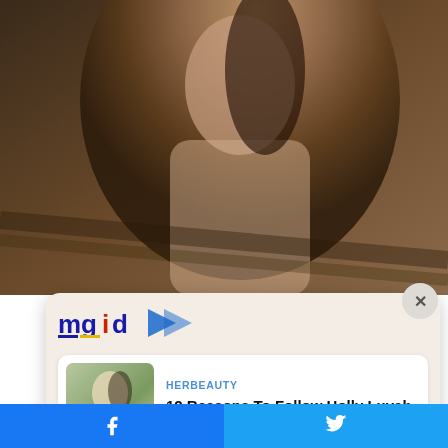[Figure (photo): Background photo of a woman in a white bikini top with dark hair, in an outdoor/beach setting with wooden structures]
[Figure (logo): MGID logo with stylized text and play-button arrow icon in blue, red, and yellow]
[Figure (photo): Thumbnail photo of a woman in white outfit on rocky/beach background]
HERBEAUTY
12 Reasons To Follow Holly Luyah - She's On Fire!
[Figure (photo): Thumbnail photo of a young woman with long hair against dark background]
HERBEAUTY
Rosie Started Out At The Tender Age Of 19: Remember Her In 2006?
Facebook share button | Twitter share button